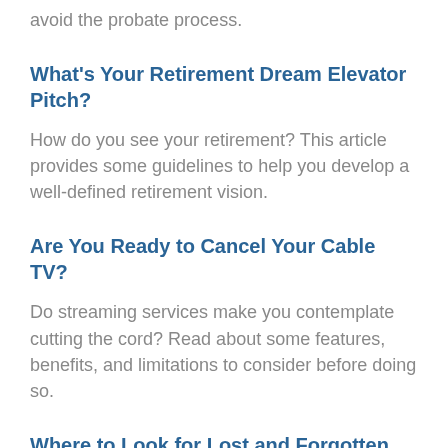avoid the probate process.
What's Your Retirement Dream Elevator Pitch?
How do you see your retirement? This article provides some guidelines to help you develop a well-defined retirement vision.
Are You Ready to Cancel Your Cable TV?
Do streaming services make you contemplate cutting the cord? Read about some features, benefits, and limitations to consider before doing so.
Where to Look for Lost and Forgotten Money
States hold unclaimed property for about one in 10 Americans. Here are some online resources that may help you find out if you're one of them.